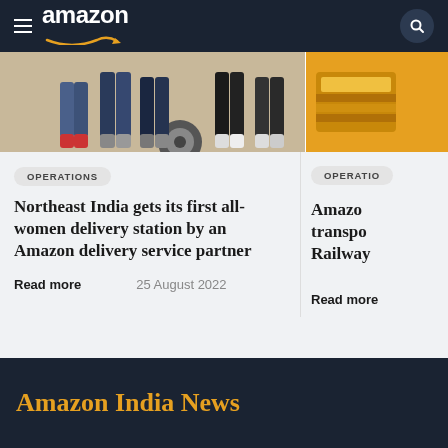amazon
[Figure (photo): Group of women standing near a scooter, legs visible, one wearing red sneakers; cropped image showing delivery workers]
[Figure (photo): Yellow background with partial gold/metallic object, cropped at right edge]
OPERATIONS
OPERATIO...
Northeast India gets its first all-women delivery station by an Amazon delivery service partner
Amazo... transpo... Railway...
Read more
25 August 2022
Read more
Amazon India News